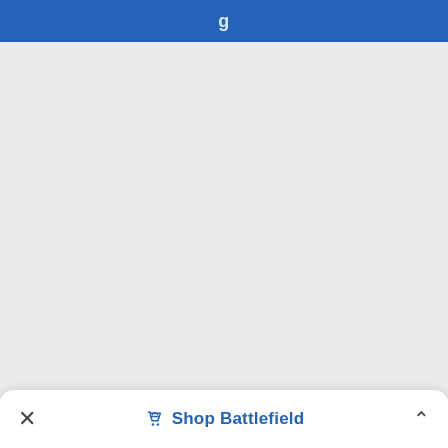g
[Figure (screenshot): Large grey empty content area below blue header bar]
× Shop Battlefield ^